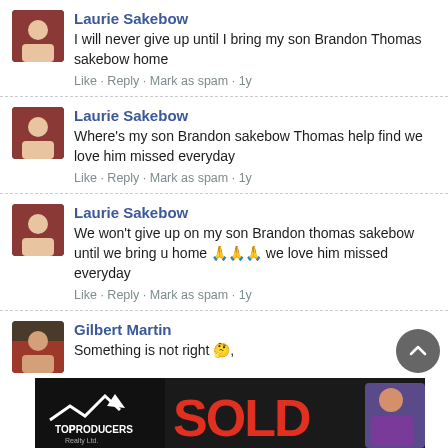Laurie Sakebow
I will never give up until I bring my son Brandon Thomas sakebow home
Like · Reply · Mark as spam · 1y
Laurie Sakebow
Where's my son Brandon sakebow Thomas help find we love him missed everyday
Like · Reply · Mark as spam · 1y
Laurie Sakebow
We won't give up on my son Brandon thomas sakebow until we bring u home 🙏🙏🙏 we love him missed everyday
Like · Reply · Mark as spam · 1y
Gilbert Martin
Something is not right 🤔,
[Figure (photo): Advertisement banner for Top Producers Realty Ltd. showing SOLD text in red with a woman in purple jacket]